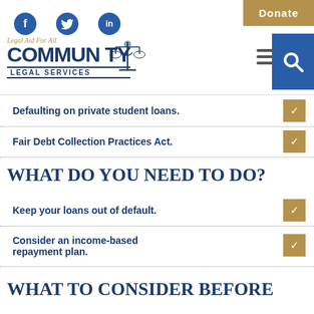Donate
[Figure (logo): Community Legal Services logo with justice figure, tagline 'Legal Aid For All', social media icons (Facebook, Twitter, LinkedIn), hamburger menu and search icons]
Defaulting on private student loans.
Fair Debt Collection Practices Act.
WHAT DO YOU NEED TO DO?
Keep your loans out of default.
Consider an income-based repayment plan.
WHAT TO CONSIDER BEFORE